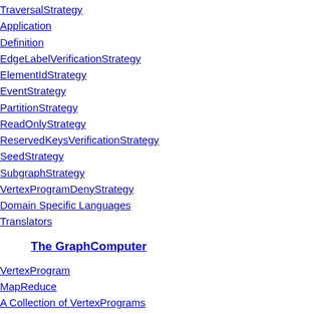TraversalStrategy
Application
Definition
EdgeLabelVerificationStrategy
ElementIdStrategy
EventStrategy
PartitionStrategy
ReadOnlyStrategy
ReservedKeysVerificationStrategy
SeedStrategy
SubgraphStrategy
VertexProgramDenyStrategy
Domain Specific Languages
Translators
The GraphComputer
VertexProgram
MapReduce
A Collection of VertexPrograms
PageRankVertexProgram